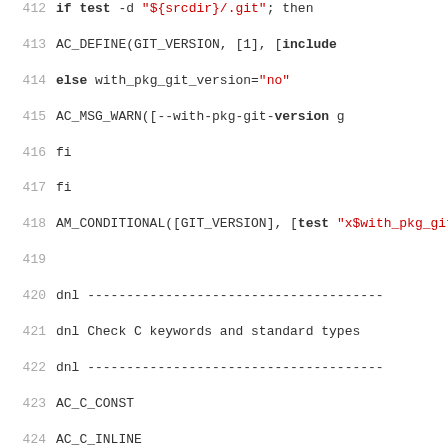[Figure (screenshot): Source code listing showing shell/autoconf script lines 412-434, with line numbers in gray on left, code in monospace. Keywords bold, string literals in red.]